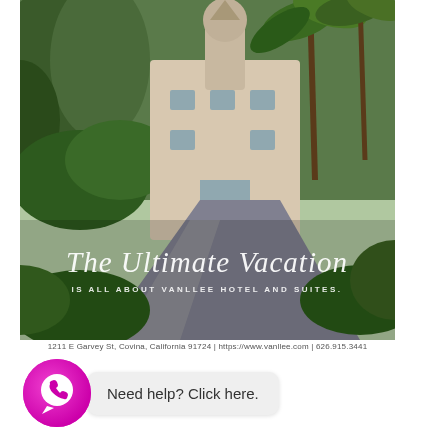[Figure (photo): Hotel and suites photo showing tropical garden with palm trees, a white building with a tower/steeple, and a driveway. Overlaid with cursive white text 'The Ultimate Vacation' and subtitle 'Is All About Vanllee Hotel and Suites.']
1211 E Garvey St, Covina, California 91724 | https://www.vanllee.com | 626.915.3441
[Figure (other): WhatsApp chat widget with pink/magenta WhatsApp icon circle and speech bubble saying 'Need help? Click here.']